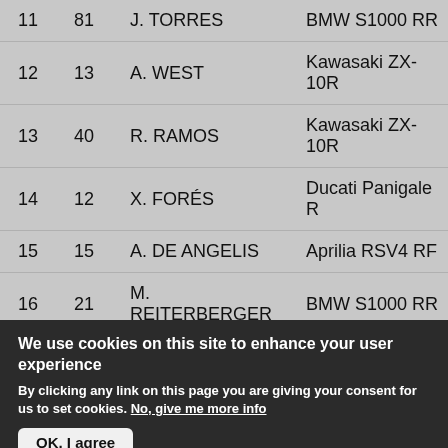| Pos | No | Rider | Bike | Gap |
| --- | --- | --- | --- | --- |
| 11 | 81 | J. TORRES | BMW S1000 RR | 29.684 |
| 12 | 13 | A. WEST | Kawasaki ZX-10R | 35.433 |
| 13 | 40 | R. RAMOS | Kawasaki ZX-10R | 35.862 |
| 14 | 12 | X. FORÉS | Ducati Panigale R | 39.240 |
| 15 | 15 | A. DE ANGELIS | Aprilia RSV4 RF | 45.790 |
| 16 | 21 | M. REITERBERGER | BMW S1000 RR | 46.252 |
| 17 | 99 | L. SCASSA | Ducati Panigale | 56.488 |
We use cookies on this site to enhance your user experience
By clicking any link on this page you are giving your consent for us to set cookies. No, give me more info
OK, I agree